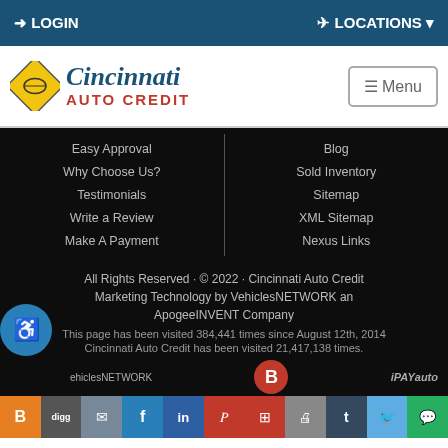LOGIN | LOCATIONS
[Figure (logo): Cincinnati Auto Credit logo with yellow diamond shape and script text]
Easy Approval
Why Choose Us?
Testimonials
Write a Review
Make A Payment
Blog
Sold Inventory
Sitemap
XML Sitemap
Nexus Links
All Rights Reserved · © 2022 · Cincinnati Auto Credit Marketing Technology by VehiclesNETWORK an ApogeeINVENT Company
This page has been visited 384,441 times since August 12th, 2014
Cincinnati Auto Credit has been visited 21,417,138 times.